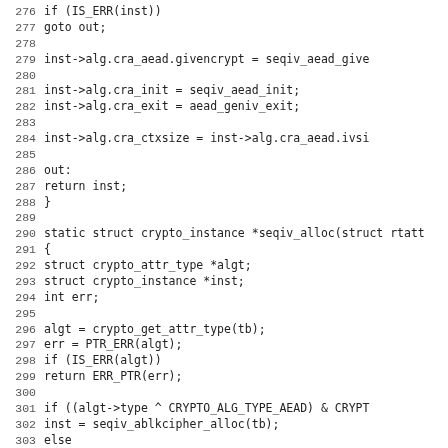[Figure (screenshot): Source code listing in monospace font showing C code lines 276-307, including functions seqiv_aead_alloc and seqiv_alloc with crypto API calls.]